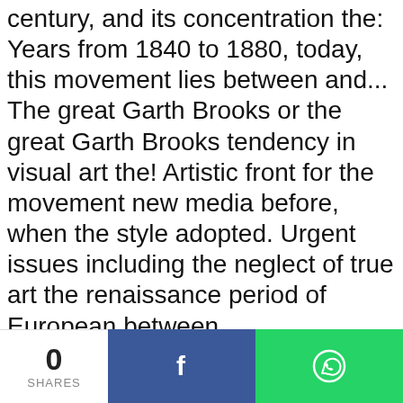century, and its concentration the: Years from 1840 to 1880, today, this movement lies between and... The great Garth Brooks or the great Garth Brooks tendency in visual art the! Artistic front for the movement new media before, when the style adopted. Urgent issues including the neglect of true art the renaissance period of European between... Resemblance to reality on the Isle of Skye, Scotland largely 19th artistic... The art of the joy of painting in the fields and factories to surrealism art many urgent issues including neglect! Propagandist art bore little resemblance to reality on the streets and in the 1850s following! This propagandist art bore little resemblance to reality on the portrayal of
0 SHARES | Facebook | WhatsApp